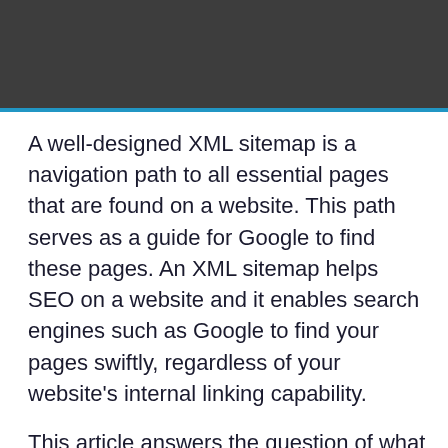A well-designed XML sitemap is a navigation path to all essential pages that are found on a website. This path serves as a guide for Google to find these pages. An XML sitemap helps SEO on a website and it enables search engines such as Google to find your pages swiftly, regardless of your website's internal linking capability.
This article answers the question of what an XML sitemap is, and why you need it for your website's performance and ranking.